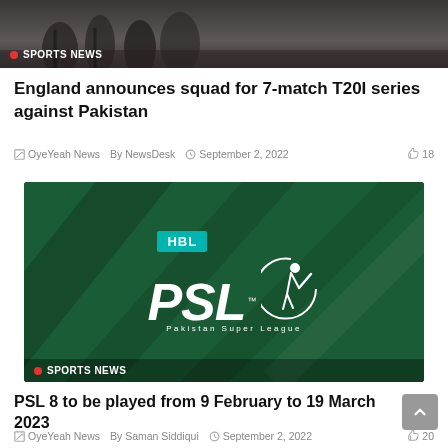[Figure (photo): Dark image of cricket players/team, partially visible at top of page]
SPORTS NEWS
England announces squad for 7-match T20I series against Pakistan
OyeYeah News  By NewsDesk  September 2, 2022  18
[Figure (photo): HBL PSL (Pakistan Super League) logo on dark green background with diagonal stripe design]
SPORTS NEWS
PSL 8 to be played from 9 February to 19 March 2023
OyeYeah News  By Saman Siddiqui  September 2, 2022  20